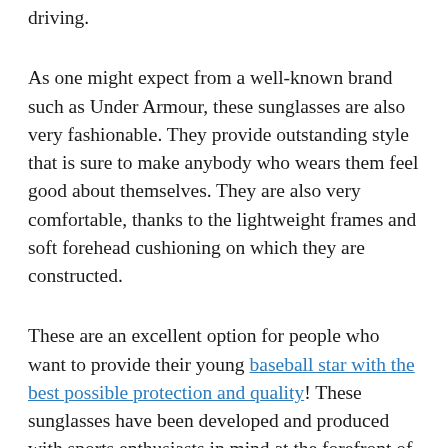driving.
As one might expect from a well-known brand such as Under Armour, these sunglasses are also very fashionable. They provide outstanding style that is sure to make anybody who wears them feel good about themselves. They are also very comfortable, thanks to the lightweight frames and soft forehead cushioning on which they are constructed.
These are an excellent option for people who want to provide their young baseball star with the best possible protection and quality! These sunglasses have been developed and produced with sports enthusiasts in mind at the forefront of their minds. When everything is said and done, the final product is an item that is